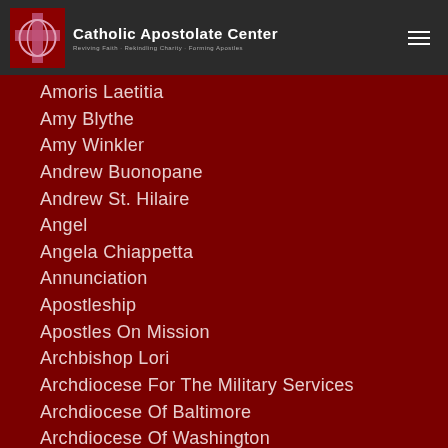Catholic Apostolate Center — Reviving Faith · Rekindling Charity · Forming Apostles
Amoris Laetitia
Amy Blythe
Amy Winkler
Andrew Buonopane
Andrew St. Hilaire
Angel
Angela Chiappetta
Annunciation
Apostleship
Apostles On Mission
Archbishop Lori
Archdiocese For The Military Services
Archdiocese Of Baltimore
Archdiocese Of Washington
Art
Ascension
Ash Wednesday